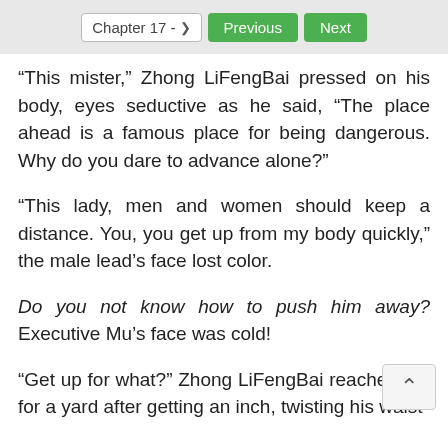Chapter 17 -  Previous  Next
“This mister,” Zhong LiFengBai pressed on his body, eyes seductive as he said, “The place ahead is a famous place for being dangerous. Why do you dare to advance alone?”
“This lady, men and women should keep a distance. You, you get up from my body quickly,” the male lead’s face lost color.
Do you not know how to push him away? Executive Mu’s face was cold!
“Get up for what?” Zhong LiFengBai reached out for a yard after getting an inch, twisting his waist